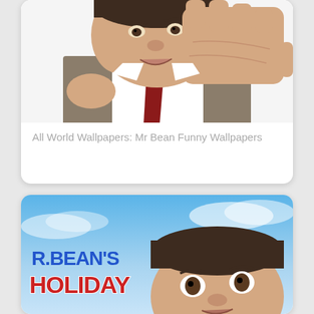[Figure (photo): Mr Bean (Rowan Atkinson) holding up his hand in a stop gesture, wearing a brown tweed jacket and red tie, white background]
All World Wallpapers: Mr Bean Funny Wallpapers
[Figure (photo): Mr Bean's Holiday movie poster showing Rowan Atkinson with wide eyes against a blue sky background, with the text 'R. BEAN'S HOLIDAY' in red and blue letters]